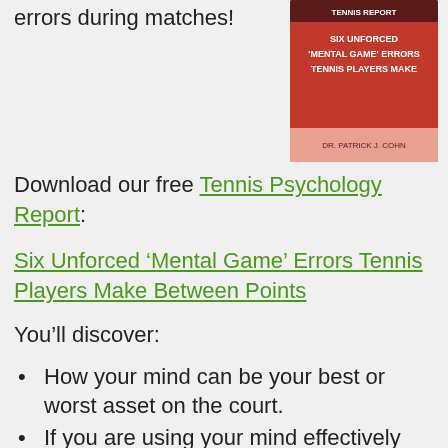errors during matches!
[Figure (photo): Book cover: Tennis Report - Six Unforced Mental Game Errors Tennis Players Make, by Dr. Patrick J. Cohn]
Download our free Tennis Psychology Report:
Six Unforced ‘Mental Game’ Errors Tennis Players Make Between Points
You’ll discover:
How your mind can be your best or worst asset on the court.
If you are using your mind effectively between points.
One strategy that can help you let